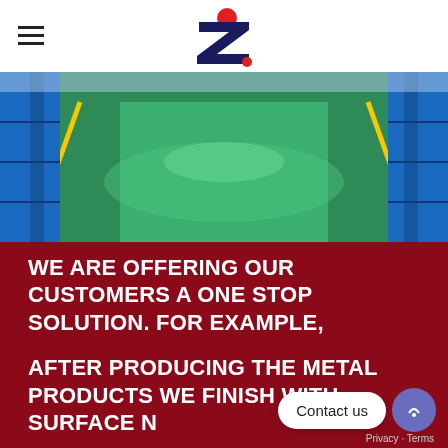[Figure (photo): Industrial factory floor with green epoxy coating and yellow lane lines, blue shelving units on sides]
WE ARE OFFERING OUR CUSTOMERS A ONE STOP SOLUTION. FOR EXAMPLE,
AFTER PRODUCING THE METAL PRODUCTS WE FINISH WITH SURFACE...N